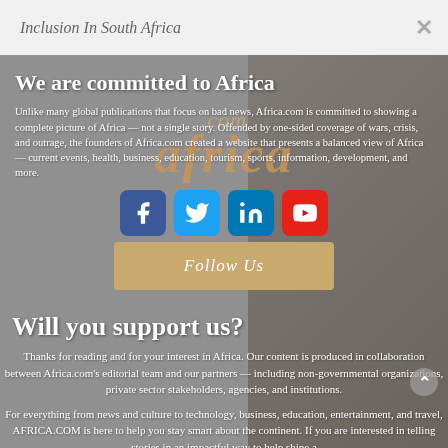Inclusion In South Africa
We are committed to Africa
Unlike many global publications that focus on bad news, Africa.com is committed to showing a complete picture of Africa — not a single story. Offended by one-sided coverage of wars, crisis, and outrage, the founders of Africa.com created a website that presents a balanced view of Africa — current events, health, business, education, tourism, sports, information, development, and more.
[Figure (logo): africa.com logo with africa in orange/gold italic text and .com above it]
[Figure (other): Social media icons row: Facebook (blue), Twitter (blue), LinkedIn (blue), YouTube (red)]
Follow Us
Will you support us?
Thanks for reading and for your interest in Africa. Our content is produced in collaboration between Africa.com's editorial team and our partners — including non-governmental organizations, private sector stakeholders, agencies, and institutions.
For everything from news and culture to technology, business, education, entertainment, and travel, AFRICA.COM is here to help you stay smart about the continent. If you are interested in telling stories in an impactful way to help shine a